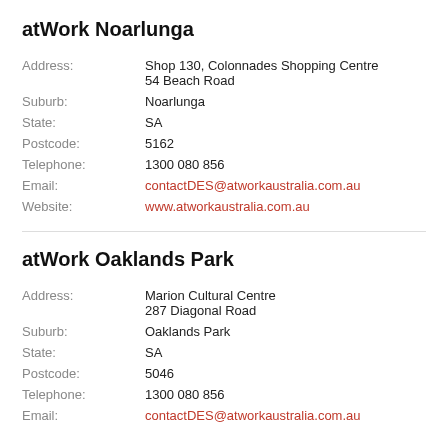atWork Noarlunga
| Address: | Shop 130, Colonnades Shopping Centre
54 Beach Road |
| Suburb: | Noarlunga |
| State: | SA |
| Postcode: | 5162 |
| Telephone: | 1300 080 856 |
| Email: | contactDES@atworkaustralia.com.au |
| Website: | www.atworkaustralia.com.au |
atWork Oaklands Park
| Address: | Marion Cultural Centre
287 Diagonal Road |
| Suburb: | Oaklands Park |
| State: | SA |
| Postcode: | 5046 |
| Telephone: | 1300 080 856 |
| Email: | contactDES@atworkaustralia.com.au |